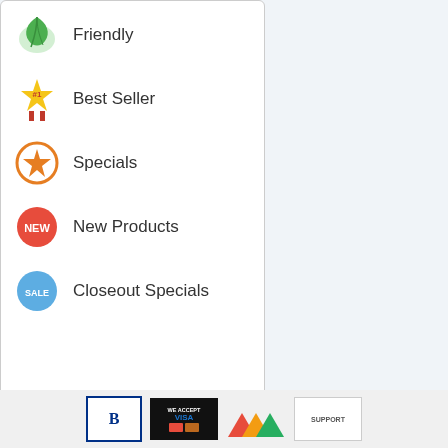Friendly
Best Seller
Specials
New Products
Closeout Specials
GSAWM3024
PRE23424
PRE23432
OCED297N
OCED94267
OCED942176
BBB | WE ACCEPT VISA | logo | SUPPORT